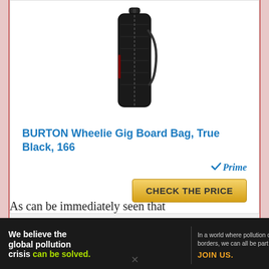[Figure (photo): Product photo of BURTON Wheelie Gig Board Bag in True Black, shown vertically with shoulder strap]
BURTON Wheelie Gig Board Bag, True Black, 166
[Figure (logo): Amazon Prime checkmark logo with 'Prime' text in blue italic]
[Figure (other): Gold 'CHECK THE PRICE' button]
As can be immediately seen that
[Figure (infographic): Pure Earth advertisement banner: 'We believe the global pollution crisis can be solved.' with JOIN US call to action and Pure Earth logo]